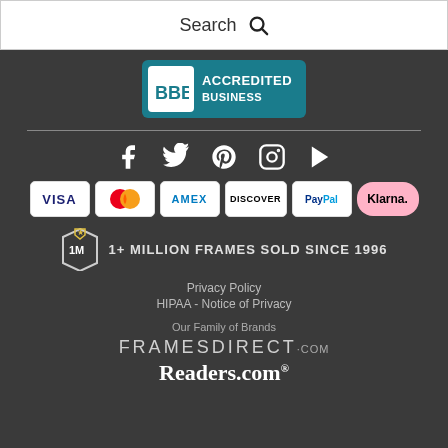Search
[Figure (logo): BBB Accredited Business badge with teal background]
[Figure (infographic): Social media icons: Facebook, Twitter, Pinterest, Instagram, YouTube]
[Figure (infographic): Payment icons: Visa, Mastercard, Amex, Discover, PayPal, Klarna]
1+ MILLION FRAMES SOLD SINCE 1996
Privacy Policy
HIPAA - Notice of Privacy
Our Family of Brands
FRAMESDIRECT.COM
Readers.com®